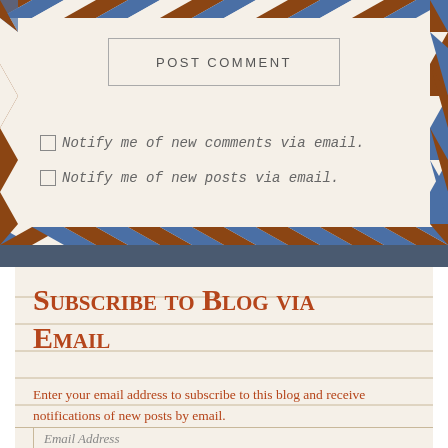POST COMMENT
Notify me of new comments via email.
Notify me of new posts via email.
Subscribe to Blog via Email
Enter your email address to subscribe to this blog and receive notifications of new posts by email.
Email Address